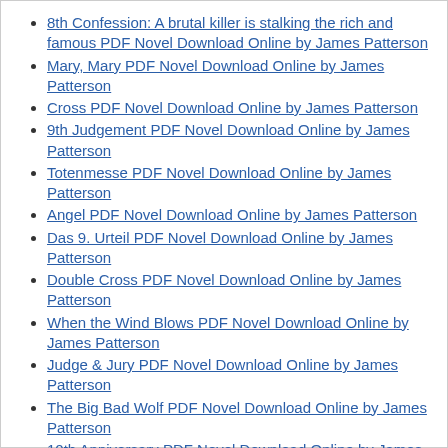8th Confession: A brutal killer is stalking the rich and famous PDF Novel Download Online by James Patterson
Mary, Mary PDF Novel Download Online by James Patterson
Cross PDF Novel Download Online by James Patterson
9th Judgement PDF Novel Download Online by James Patterson
Totenmesse PDF Novel Download Online by James Patterson
Angel PDF Novel Download Online by James Patterson
Das 9. Urteil PDF Novel Download Online by James Patterson
Double Cross PDF Novel Download Online by James Patterson
When the Wind Blows PDF Novel Download Online by James Patterson
Judge & Jury PDF Novel Download Online by James Patterson
The Big Bad Wolf PDF Novel Download Online by James Patterson
10th Anniversary PDF Novel Download Online by James